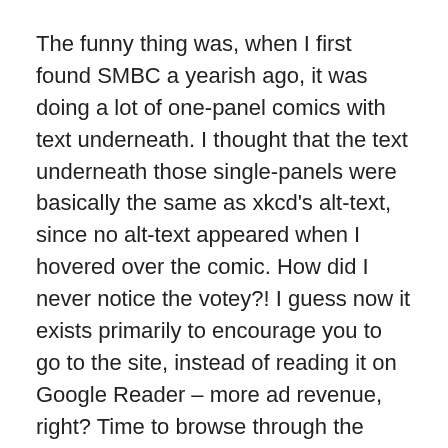The funny thing was, when I first found SMBC a yearish ago, it was doing a lot of one-panel comics with text underneath. I thought that the text underneath those single-panels were basically the same as xkcd's alt-text, since no alt-text appeared when I hovered over the comic. How did I never notice the votey?! I guess now it exists primarily to encourage you to go to the site, instead of reading it on Google Reader – more ad revenue, right? Time to browse through the entire archives and read the voteys, now…
MY FISH DIED.
Oh man I would totally create an experimental video game or anime or novel about the life of fish. I'll call it 'Life of Fish.' Experimental because instead of looking at the world from our perspective or looking at it from the fish's